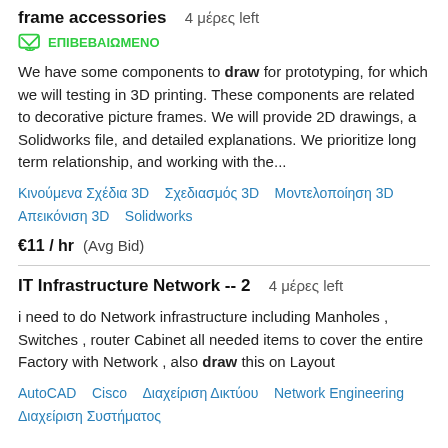frame accessories  4 μέρες left
ΕΠΙΒΕΒΑΙΩΜΕΝΟ
We have some components to draw for prototyping, for which we will testing in 3D printing. These components are related to decorative picture frames. We will provide 2D drawings, a Solidworks file, and detailed explanations. We prioritize long term relationship, and working with the...
Κινούμενα Σχέδια 3D   Σχεδιασμός 3D   Μοντελοποίηση 3D   Απεικόνιση 3D   Solidworks
€11 / hr  (Avg Bid)
IT Infrastructure Network -- 2  4 μέρες left
i need to do Network infrastructure including Manholes , Switches , router Cabinet all needed items to cover the entire Factory with Network , also draw this on Layout
AutoCAD   Cisco   Διαχείριση Δικτύου   Network Engineering   Διαχείριση Συστήματος